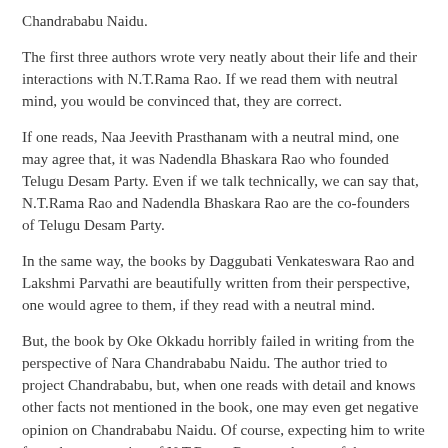Chandrababu Naidu.
The first three authors wrote very neatly about their life and their interactions with N.T.Rama Rao. If we read them with neutral mind, you would be convinced that, they are correct.
If one reads, Naa Jeevith Prasthanam with a neutral mind, one may agree that, it was Nadendla Bhaskara Rao who founded Telugu Desam Party. Even if we talk technically, we can say that, N.T.Rama Rao and Nadendla Bhaskara Rao are the co-founders of Telugu Desam Party.
In the same way, the books by Daggubati Venkateswara Rao and Lakshmi Parvathi are beautifully written from their perspective, one would agree to them, if they read with a neutral mind.
But, the book by Oke Okkadu horribly failed in writing from the perspective of Nara Chandrababu Naidu. The author tried to project Chandrababu, but, when one reads with detail and knows other facts not mentioned in the book, one may even get negative opinion on Chandrababu Naidu. Of course, expecting him to write from the perspective of N.T.Rama Rao may be out of the question.